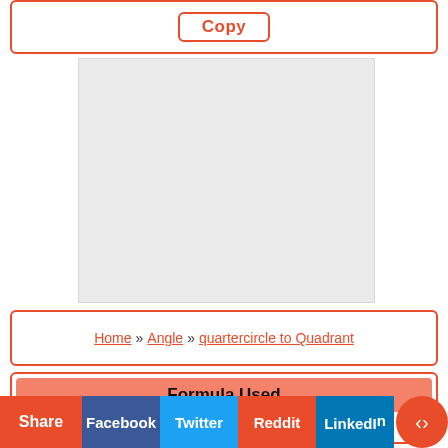[Figure (other): Copy button inside a red-bordered box at the top of the page]
[Figure (other): Grey rectangular advertisement or image placeholder]
Home » Angle » quartercircle to Quadrant
Formula Used
Share  Facebook  Twitter  Reddit  LinkedIn